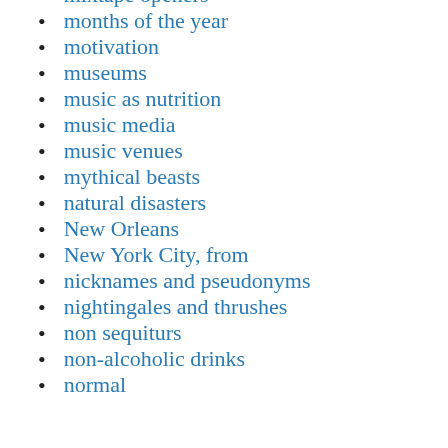mixtape openers
months of the year
motivation
museums
music as nutrition
music media
music venues
mythical beasts
natural disasters
New Orleans
New York City, from
nicknames and pseudonyms
nightingales and thrushes
non sequiturs
non-alcoholic drinks
normal